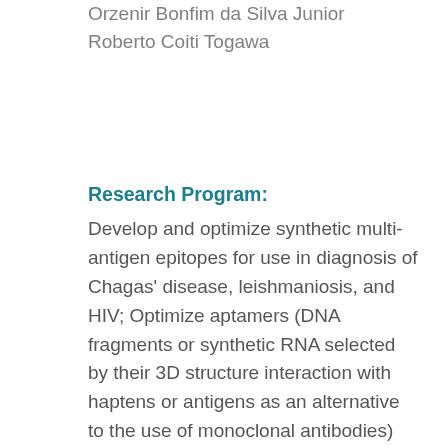Orzenir Bonfim da Silva Junior
Roberto Coiti Togawa
Research Program:
Develop and optimize synthetic multi-antigen epitopes for use in diagnosis of Chagas' disease, leishmaniosis, and HIV; Optimize aptamers (DNA fragments or synthetic RNA selected by their 3D structure interaction with haptens or antigens as an alternative to the use of monoclonal antibodies) for diagnostics, to capture and target enrichment system, and the